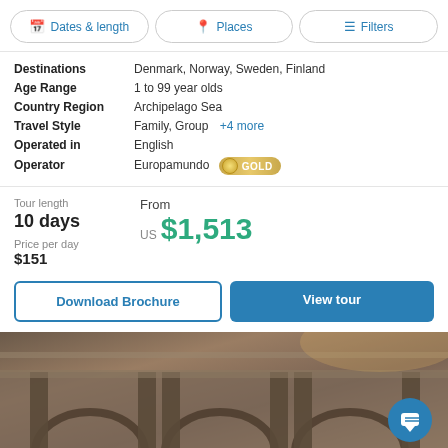Dates & length | Places | Filters
| Field | Value |
| --- | --- |
| Destinations | Denmark, Norway, Sweden, Finland |
| Age Range | 1 to 99 year olds |
| Country Region | Archipelago Sea |
| Travel Style | Family, Group  +4 more |
| Operated in | English |
| Operator | Europamundo  GOLD |
Tour length: 10 days | Price per day: $151
From US $1,513
Download Brochure | View tour
[Figure (photo): Architectural photo of historic stone building with arches and detailed stonework]